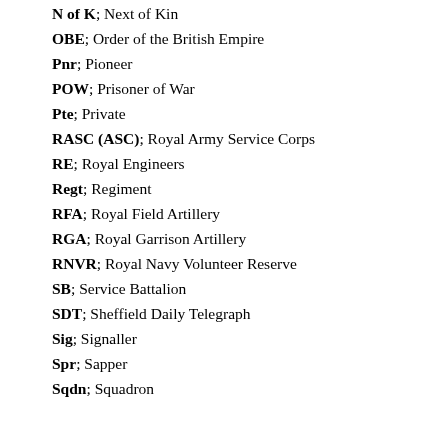N of K; Next of Kin
OBE; Order of the British Empire
Pnr; Pioneer
POW; Prisoner of War
Pte; Private
RASC (ASC); Royal Army Service Corps
RE; Royal Engineers
Regt; Regiment
RFA; Royal Field Artillery
RGA; Royal Garrison Artillery
RNVR; Royal Navy Volunteer Reserve
SB; Service Battalion
SDT; Sheffield Daily Telegraph
Sig; Signaller
Spr; Sapper
Sqdn; Squadron